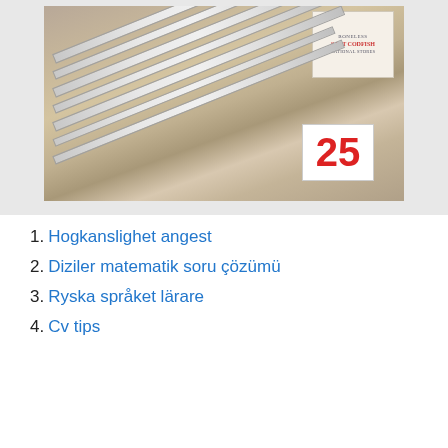[Figure (photo): Photo of rulers/pencils laid out on a wooden surface with a vintage sign card in the background and a number card showing '25' in red in the foreground]
1. Hogkanslighet angest
2. Diziler matematik soru çözümü
3. Ryska språket lärare
4. Cv tips